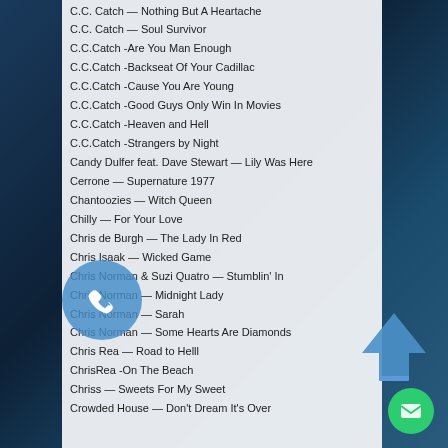C.C. Catch — Nothing But A Heartache
C.C. Catch — Soul Survivor
C.C.Catch -Are You Man Enough
C.C.Catch -Backseat Of Your Cadillac
C.C.Catch -Cause You Are Young
C.C.Catch -Good Guys Only Win In Movies
C.C.Catch -Heaven and Hell
C.C.Catch -Strangers by Night
Candy Dulfer feat. Dave Stewart — Lily Was Here
Cerrone — Supernature 1977
Chantoozies — Witch Queen
Chilly — For Your Love
Chris de Burgh — The Lady In Red
Chris Isaak — Wicked Game
Chris Norman & Suzi Quatro — Stumblin' In
Chris Norman — Midnight Lady
Chris Norman — Sarah
Chris Norman — Some Hearts Are Diamonds
Chris Rea — Road to Helll
ChrisRea -On The Beach
Chriss — Sweets For My Sweet
Crowded House — Don't Dream It's Over